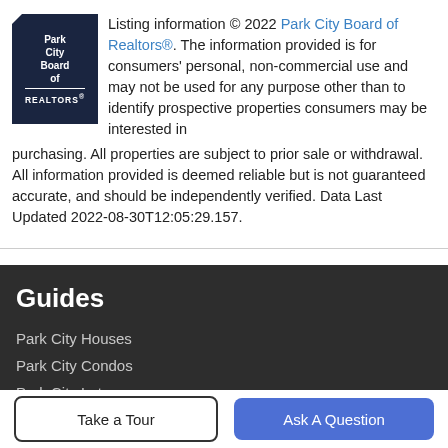[Figure (logo): Park City Board of Realtors logo — dark navy pentagon shape with white text reading Park City Board of REALTORS]
Listing information © 2022 Park City Board of Realtors®. The information provided is for consumers' personal, non-commercial use and may not be used for any purpose other than to identify prospective properties consumers may be interested in purchasing. All properties are subject to prior sale or withdrawal. All information provided is deemed reliable but is not guaranteed accurate, and should be independently verified. Data Last Updated 2022-08-30T12:05:29.157.
Guides
Park City Houses
Park City Condos
Park City Lots
Ski Access Land
Take a Tour
Ask A Question